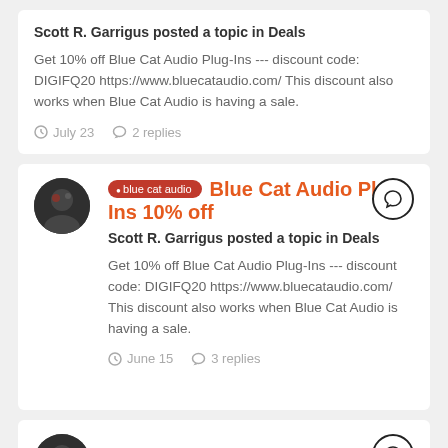Scott R. Garrigus posted a topic in Deals
Get 10% off Blue Cat Audio Plug-Ins --- discount code: DIGIFQ20 https://www.bluecataudio.com/ This discount also works when Blue Cat Audio is having a sale.
July 23   2 replies
[Figure (photo): User avatar photo - person with dark background]
blue cat audio   Blue Cat Audio Plug-Ins 10% off
Scott R. Garrigus posted a topic in Deals
Get 10% off Blue Cat Audio Plug-Ins --- discount code: DIGIFQ20 https://www.bluecataudio.com/ This discount also works when Blue Cat Audio is having a sale.
June 15   3 replies
[Figure (photo): User avatar photo - person with dark background]